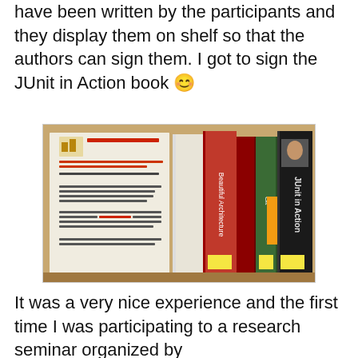have been written by the participants and they display them on shelf so that the authors can sign them. I got to sign the JUnit in Action book 😊
[Figure (photo): Photo of books on a library shelf including 'Beautiful Architecture', 'JUnit in Action', and others, alongside a sign addressed to Dagstuhl Seminar participants asking them to autograph their books available in the library stock.]
It was a very nice experience and the first time I was participating to a research seminar organized by